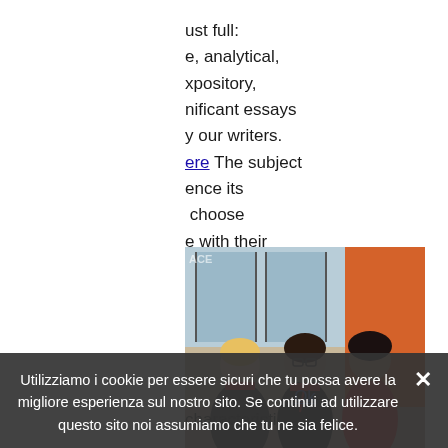ust full: e, analytical, xpository, nificant essays y our writers. ere The subject ence its choose e with their
[Figure (photo): Three young women standing together smiling, in front of a building entrance with an orange wall. They appear to be students.]
characteristic of
Utilizziamo i cookie per essere sicuri che tu possa avere la migliore esperienza sul nostro sito. Se continui ad utilizzare questo sito noi assumiamo che tu ne sia felice.